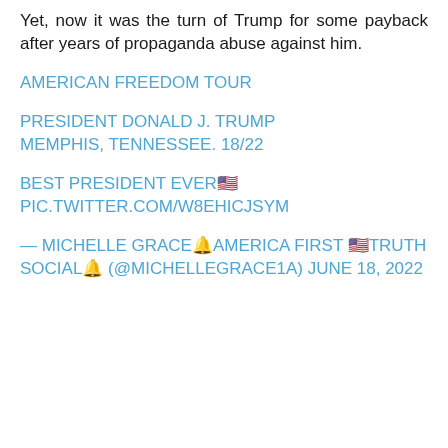Yet, now it was the turn of Trump for some payback after years of propaganda abuse against him.
AMERICAN FREEDOM TOUR
PRESIDENT DONALD J. TRUMP MEMPHIS, TENNESSEE. 18/22
BEST PRESIDENT EVER🇺🇸 PIC.TWITTER.COM/W8EHICJSYM
— MICHELLE GRACE🔔AMERICA FIRST 🇺🇸TRUTH SOCIAL🔔 (@MICHELLEGRACE1A) JUNE 18, 2022